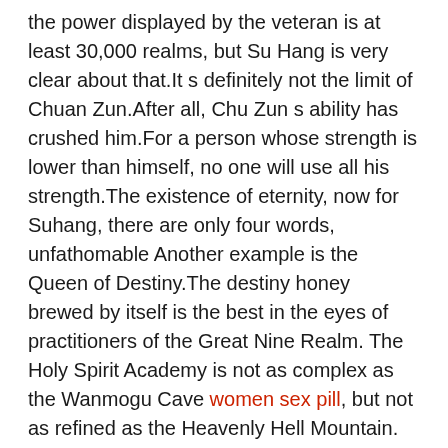the power displayed by the veteran is at least 30,000 realms, but Su Hang is very clear about that.It s definitely not the limit of Chuan Zun.After all, Chu Zun s ability has crushed him.For a person whose strength is lower than himself, no one will use all his strength.The existence of eternity, now for Suhang, there are only four words, unfathomable Another example is the Queen of Destiny.The destiny honey brewed by itself is the best in the eyes of practitioners of the Great Nine Realm. The Holy Spirit Academy is not as complex as the Wanmogu Cave women sex pill, but not as refined as the Heavenly Hell Mountain. Best testosterone pills gnc Between the two, it can be regarded as Zhongzheng and peaceful.The strength of Minggu is also extremely high.Strong, he was one of the few who could retreat from the battle of fate, but this man was a cultivator, and at the end of his cultivation, he lost his wife.Now Hanyi is in charge of the Ancient Cave of Ten Thousand Demons.The two are born of love and hate, I m afraid that the two will not be able to have a relationship.The woman in Hanyi is very angry and will definitely find trouble with Minggu Gross made a long talk, and Su Hang was